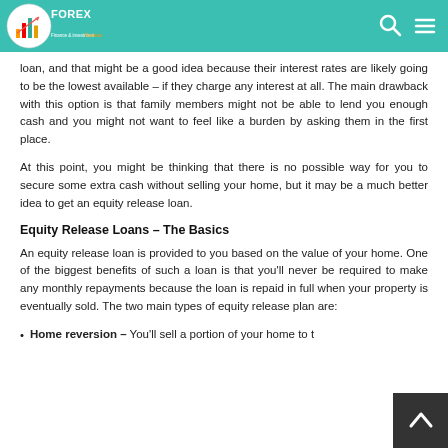FOREX TRADES Finance & investment
loan, and that might be a good idea because their interest rates are likely going to be the lowest available – if they charge any interest at all. The main drawback with this option is that family members might not be able to lend you enough cash and you might not want to feel like a burden by asking them in the first place.
At this point, you might be thinking that there is no possible way for you to secure some extra cash without selling your home, but it may be a much better idea to get an equity release loan.
Equity Release Loans – The Basics
An equity release loan is provided to you based on the value of your home. One of the biggest benefits of such a loan is that you'll never be required to make any monthly repayments because the loan is repaid in full when your property is eventually sold. The two main types of equity release plan are:
Home reversion – You'll sell a portion of your home to t